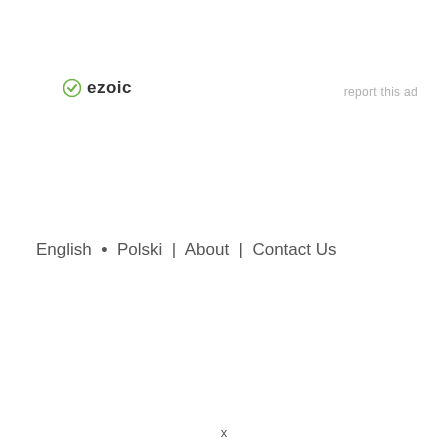[Figure (logo): Ezoic logo with green circular icon and bold 'ezoic' text]
report this ad
English  .  Polski  |  About  |  Contact Us
x